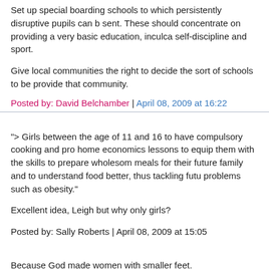Set up special boarding schools to which persistently disruptive pupils can be sent. These should concentrate on providing a very basic education, inculcating self-discipline and sport.
Give local communities the right to decide the sort of schools to be provided for that community.
Posted by: David Belchamber | April 08, 2009 at 16:22
"&gt; Girls between the age of 11 and 16 to have compulsory cooking and proper home economics lessons to equip them with the skills to prepare wholesome meals for their future family and to understand food better, thus tackling future problems such as obesity."
Excellent idea, Leigh but why only girls?
Posted by: Sally Roberts | April 08, 2009 at 15:05
Because God made women with smaller feet.
Ideal for getting closer to the sink.
Posted by: Dontmakemelaugh | April 08, 2009 at 16:45